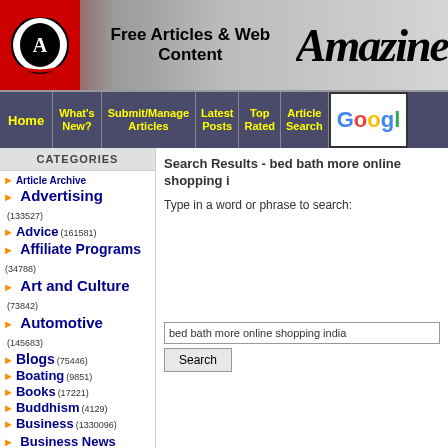Free Articles & Web Content - Amazine
[Figure (logo): Amazine website logo with circular graphic on red background and stylized masthead text]
Home | What's New? | Submit/Manage Articles | Latest Posts | Top Rated | Article Search | Google
CATEGORIES
Article Archive
Advertising (133527)
Advice (161581)
Affiliate Programs (34788)
Art and Culture (73842)
Automotive (145683)
Blogs (75446)
Boating (9851)
Books (17221)
Buddhism (4129)
Business (1330096)
Business News (426438)
Business Opportunities (366486)
Search Results - bed bath more online shopping i
Type in a word or phrase to search:
bed bath more online shopping india